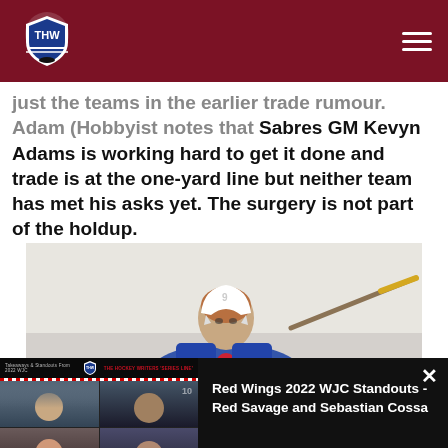[Figure (logo): The Hockey Writers (THW) shield logo with navigation bar on dark red background]
just the teams in the earlier trade rumour. Adam (Hobbyist notes that Sabres GM Kevyn Adams is working hard to get it done and trade is at the one-yard line but neither team has met his asks yet. The surgery is not part of the holdup.
[Figure (photo): Hockey player wearing white helmet and blue/yellow Buffalo Sabres jersey holding a hockey stick with yellow tape, on ice]
[Figure (screenshot): Video player overlay showing a panel discussion with four participants in a grid view, with THW branding and show title 'THE HOCKEY WRITERS SERIES LINE']
Red Wings 2022 WJC Standouts - Red Savage and Sebastian Cossa